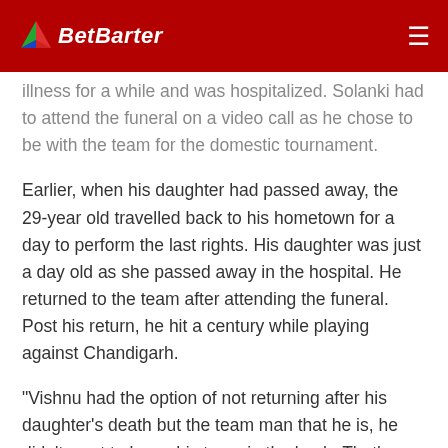BetBarter
illness for a while and was hospitalized. Solanki had to attend the funeral on a video call as he chose to be with the team for the domestic tournament.
Earlier, when his daughter had passed away, the 29-year old travelled back to his hometown for a day to perform the last rights. His daughter was just a day old as she passed away in the hospital. He returned to the team after attending the funeral. Post his return, he hit a century while playing against Chandigarh.
"Vishnu had the option of not returning after his daughter's death but the team man that he is, he didn't want to leave his team in the lurch. That's what makes